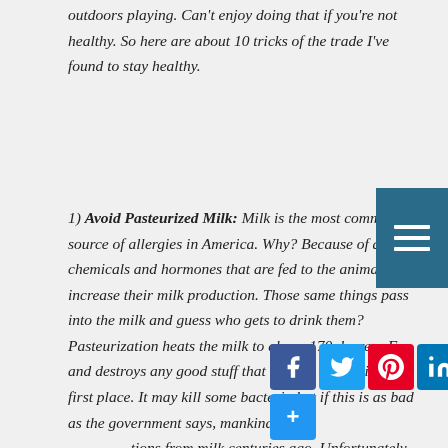outdoors playing. Can't enjoy doing that if you're not healthy. So here are about 10 tricks of the trade I've found to stay healthy.
1) Avoid Pasteurized Milk: Milk is the most common source of allergies in America. Why? Because of all the chemicals and hormones that are fed to the animals to increase their milk production. Those same things pass into the milk and guess who gets to drink them? Pasteurization heats the milk to above 170 degrees F and destroys any good stuff that may be in milk in the first place. It may kill some bacteria but if this is as bad as the government says, mankind should have ended from infections from milk centuries ago. Unfortunately Ohio prevents us from buying unpasteurized milk from farmers.